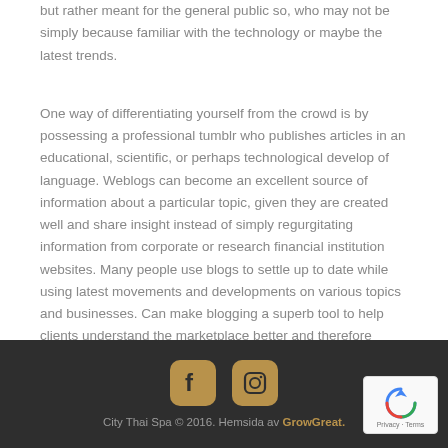but rather meant for the general public so, who may not be simply because familiar with the technology or maybe the latest trends.
One way of differentiating yourself from the crowd is by possessing a professional tumblr who publishes articles in an educational, scientific, or perhaps technological develop of language. Weblogs can become an excellent source of information about a particular topic, given they are created well and share insight instead of simply regurgitating information from corporate or research financial institution websites. Many people use blogs to settle up to date while using latest movements and developments on various topics and businesses. Can make blogging a superb tool to help clients understand the marketplace better and therefore become PC Matic review 2019 more successful for making business decisions.
City Thai Spa © 2016. Hemsida av GrowGreat.